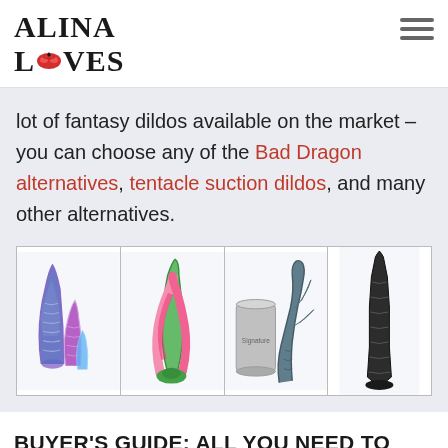ALINA LOVES
lot of fantasy dildos available on the market – you can choose any of the Bad Dragon alternatives, tentacle suction dildos, and many other alternatives.
[Figure (photo): A grid of four adult fantasy dildo products: colorful segmented blue/purple tentacle dildos, a pink/green twisted fantasy dildo, a grey snake-themed dildo next to a can, and a tall dark tower-shaped dildo.]
BUYER'S GUIDE: ALL YOU NEED TO KNOW ABOUT THE BEST SUCTION CUP DILDO